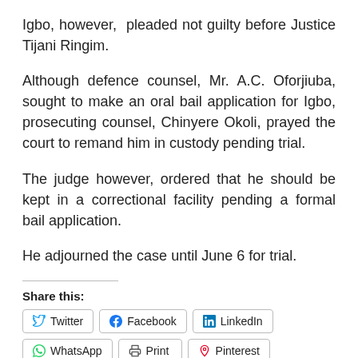Igbo, however,  pleaded not guilty before Justice Tijani Ringim.
Although defence counsel, Mr. A.C. Oforjiuba, sought to make an oral bail application for Igbo, prosecuting counsel, Chinyere Okoli, prayed the court to remand him in custody pending trial.
The judge however, ordered that he should be kept in a correctional facility pending a formal bail application.
He adjourned the case until June 6 for trial.
Share this:
Twitter | Facebook | LinkedIn | WhatsApp | Print | Pinterest | Telegram | Email